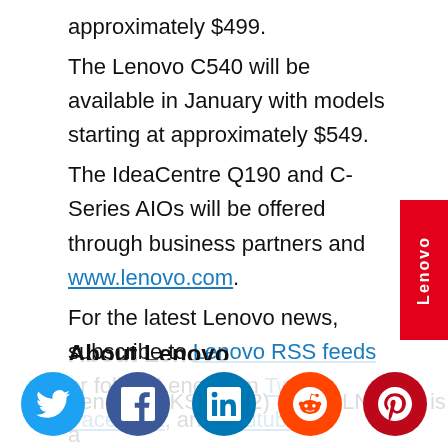approximately $499. The Lenovo C540 will be available in January with models starting at approximately $549. The IdeaCentre Q190 and C-Series AIOs will be offered through business partners and www.lenovo.com. For the latest Lenovo news, subscribe to Lenovo RSS feeds or follow Lenovo on Twitter, Facebook, and Youtube.
About Lenovo
Lenovo (HKSE: 992) (ADR: LNVGY) is a
[Figure (infographic): Lenovo red vertical sidebar banner with 'Lenovo' text rotated vertically in white]
[Figure (infographic): Social media share buttons: Twitter (blue), Facebook (dark blue), LinkedIn (blue), Reddit (orange), Pinterest (red)]